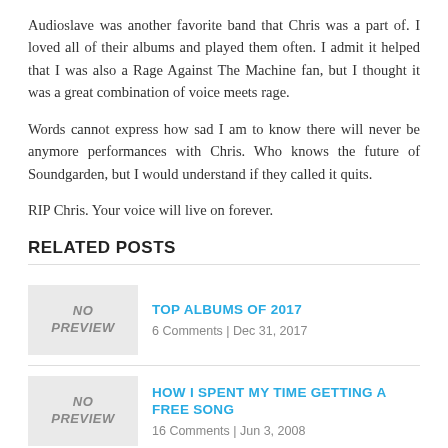Audioslave was another favorite band that Chris was a part of. I loved all of their albums and played them often. I admit it helped that I was also a Rage Against The Machine fan, but I thought it was a great combination of voice meets rage.
Words cannot express how sad I am to know there will never be anymore performances with Chris. Who knows the future of Soundgarden, but I would understand if they called it quits.
RIP Chris. Your voice will live on forever.
RELATED POSTS
TOP ALBUMS OF 2017
6 Comments | Dec 31, 2017
HOW I SPENT MY TIME GETTING A FREE SONG
16 Comments | Jun 3, 2008
MORE ABOUT NO DARK SUIT COAT GANG